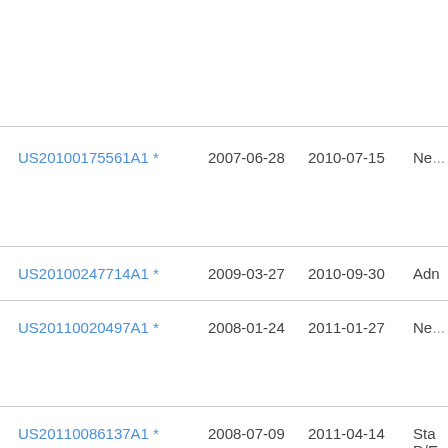| Publication Number | Filing Date | Publication Date | Description |
| --- | --- | --- | --- |
|  |  |  |  |
| US20100175561A1 * | 2007-06-28 | 2010-07-15 | Ne… |
| US20100247714A1 * | 2009-03-27 | 2010-09-30 | Adm… |
| US20110020497A1 * | 2008-01-24 | 2011-01-27 | Ne… |
| US20110086137A1 * | 2008-07-09 | 2011-04-14 | Sta D/E… |